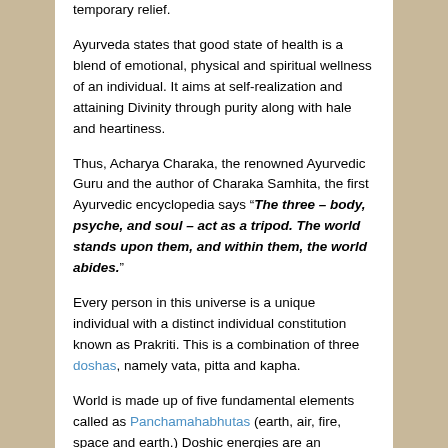temporary relief.
Ayurveda states that good state of health is a blend of emotional, physical and spiritual wellness of an individual. It aims at self-realization and attaining Divinity through purity along with hale and heartiness.
Thus, Acharya Charaka, the renowned Ayurvedic Guru and the author of Charaka Samhita, the first Ayurvedic encyclopedia says “The three – body, psyche, and soul – act as a tripod. The world stands upon them, and within them, the world abides.”
Every person in this universe is a unique individual with a distinct individual constitution known as Prakriti. This is a combination of three doshas, namely vata, pitta and kapha.
World is made up of five fundamental elements called as Panchamahabhutas (earth, air, fire, space and earth.) Doshic energies are an arrangement of these five vital forces.